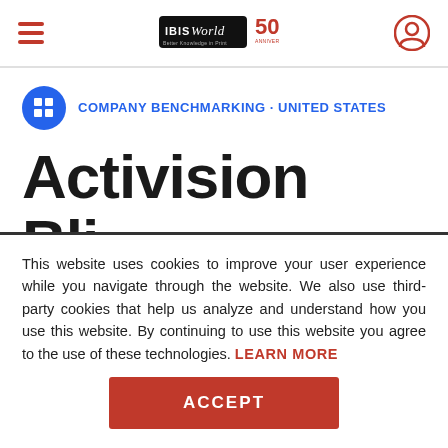IBISWorld 50th Anniversary — navigation header with hamburger menu and user icon
COMPANY BENCHMARKING · UNITED STATES
Activision Bli...
This website uses cookies to improve your user experience while you navigate through the website. We also use third-party cookies that help us analyze and understand how you use this website. By continuing to use this website you agree to the use of these technologies. LEARN MORE
ACCEPT